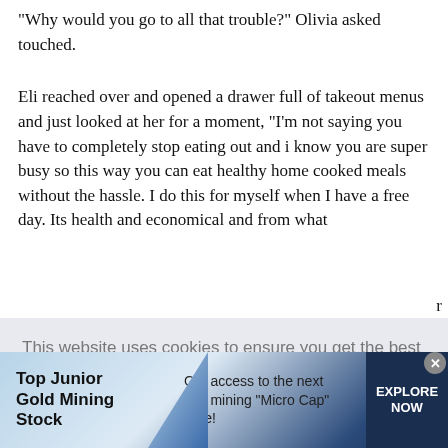"Why would you go to all that trouble?" Olivia asked touched.
Eli reached over and opened a drawer full of takeout menus and just looked at her for a moment, "I'm not saying you have to completely stop eating out and i know you are super busy so this way you can eat healthy home cooked meals without the hassle. I do this for myself when I have a free day. Its health and economical and from what [partially obscured] r
[Figure (screenshot): Cookie consent banner overlay reading: This website uses cookies to ensure you get the best experience on our website. Learn more]
[Figure (screenshot): Advertisement banner for Top Junior Gold Mining Stock: Get access to the next Top mining Micro Cap here! EXPLORE NOW]